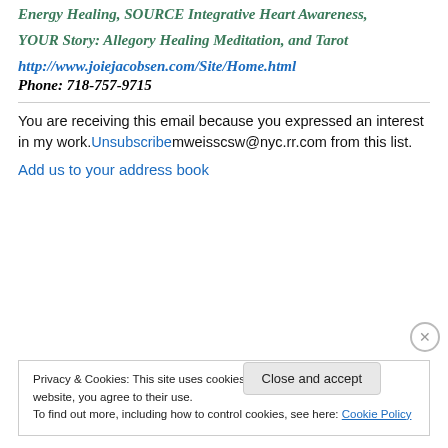Energy Healing, SOURCE Integrative Heart Awareness,
YOUR Story: Allegory Healing Meditation, and Tarot
http://www.joiejacobsen.com/Site/Home.html
Phone: 718-757-9715
You are receiving this email because you expressed an interest in my work.Unsubscribemweisscsw@nyc.rr.com from this list.
Add us to your address book
Privacy & Cookies: This site uses cookies. By continuing to use this website, you agree to their use.
To find out more, including how to control cookies, see here: Cookie Policy
Close and accept